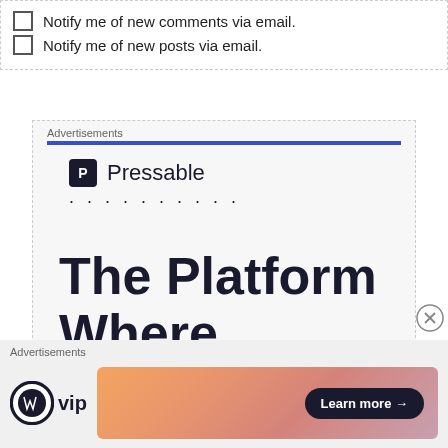Notify me of new comments via email.
Notify me of new posts via email.
Advertisements
[Figure (screenshot): Pressable advertisement banner with blue bar, Pressable logo and dots, and large text reading 'The Platform Where']
Advertisements
[Figure (screenshot): WordPress VIP logo on left, colorful gradient banner with 'Learn more' button on right]